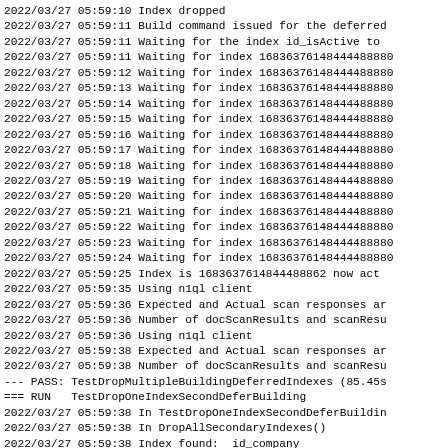2022/03/27 05:59:10 Index dropped
2022/03/27 05:59:11 Build command issued for the deferred
2022/03/27 05:59:11 Waiting for the index id_isActive to
2022/03/27 05:59:11 Waiting for index 16836376148444488880
2022/03/27 05:59:12 Waiting for index 16836376148444488880
2022/03/27 05:59:13 Waiting for index 16836376148444488880
2022/03/27 05:59:14 Waiting for index 16836376148444488880
2022/03/27 05:59:15 Waiting for index 16836376148444488880
2022/03/27 05:59:16 Waiting for index 16836376148444488880
2022/03/27 05:59:17 Waiting for index 16836376148444488880
2022/03/27 05:59:18 Waiting for index 16836376148444488880
2022/03/27 05:59:19 Waiting for index 16836376148444488880
2022/03/27 05:59:20 Waiting for index 16836376148444488880
2022/03/27 05:59:21 Waiting for index 16836376148444488880
2022/03/27 05:59:22 Waiting for index 16836376148444488880
2022/03/27 05:59:23 Waiting for index 16836376148444488880
2022/03/27 05:59:24 Waiting for index 16836376148444488880
2022/03/27 05:59:25 Index is 1683637614844488862 now act
2022/03/27 05:59:35 Using n1ql client
2022/03/27 05:59:36 Expected and Actual scan responses ar
2022/03/27 05:59:36 Number of docScanResults and scanResu
2022/03/27 05:59:36 Using n1ql client
2022/03/27 05:59:38 Expected and Actual scan responses ar
2022/03/27 05:59:38 Number of docScanResults and scanResu
--- PASS: TestDropMultipleBuildingDeferredIndexes (85.45s
=== RUN   TestDropOneIndexSecondDeferBuilding
2022/03/27 05:59:38 In TestDropOneIndexSecondDeferBuildin
2022/03/27 05:59:38 In DropAllSecondaryIndexes()
2022/03/27 05:59:38 Index found:  id_company
2022/03/27 05:59:38 Dropped index id_company